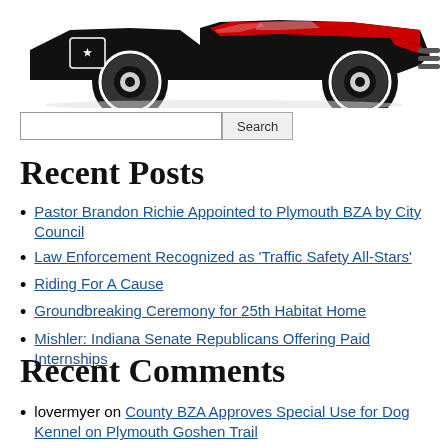[Figure (logo): Black, red and white illustration of a vintage racing car / hot rod, used as website logo]
Search [input field] Search [button]
Recent Posts
Pastor Brandon Richie Appointed to Plymouth BZA by City Council
Law Enforcement Recognized as 'Traffic Safety All-Stars'
Riding For A Cause
Groundbreaking Ceremony for 25th Habitat Home
Mishler: Indiana Senate Republicans Offering Paid Internships
Recent Comments
lovermyer on County BZA Approves Special Use for Dog Kennel on Plymouth Goshen Trail
CommonCents on City Works to Receive Reimbursement for Demolition at 701 W. Lake Ave.